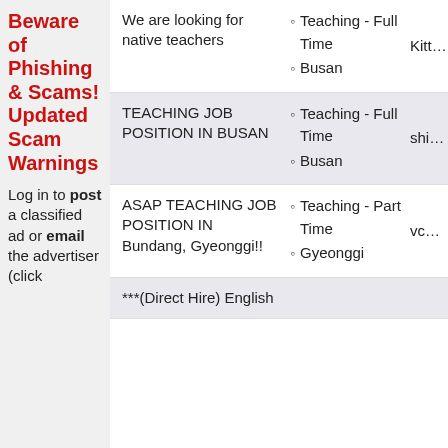Beware of Phishing & Scams! Updated Scam Warnings
Log in to post a classified ad or email the advertiser (click
We are looking for native teachers | Teaching - Full Time | Busan | Kitten0
TEACHING JOB POSITION IN BUSAN | Teaching - Full Time | Busan | shiner
ASAP TEACHING JOB POSITION IN Bundang, Gyeonggi!! | Teaching - Part Time | Gyeonggi | vca-pan
***(Direct Hire) English